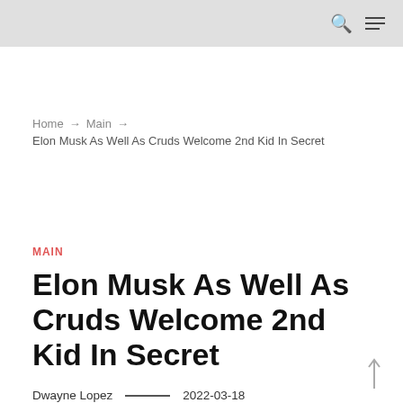Home → Main → Elon Musk As Well As Cruds Welcome 2nd Kid In Secret
MAIN
Elon Musk As Well As Cruds Welcome 2nd Kid In Secret
Dwayne Lopez  ——  2022-03-18